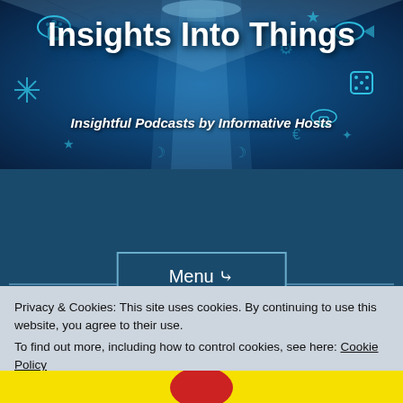[Figure (illustration): Website banner with dark blue background, light rays from center, various small icons (mushroom, fish, snowflake, dice, stars etc.) in cyan, and the site title and subtitle text overlaid.]
Insights Into Things
Insightful Podcasts by Informative Hosts
Menu ∨
Privacy & Cookies: This site uses cookies. By continuing to use this website, you agree to their use.
To find out more, including how to control cookies, see here: Cookie Policy
Close and accept